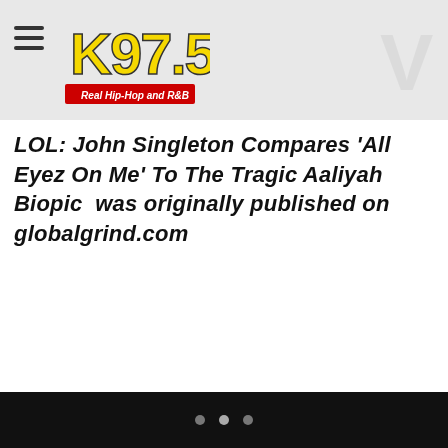K97.5 Real Hip-Hop and R&B
LOL: John Singleton Compares ‘All Eyez On Me’ To The Tragic Aaliyah Biopic  was originally published on globalgrind.com
...